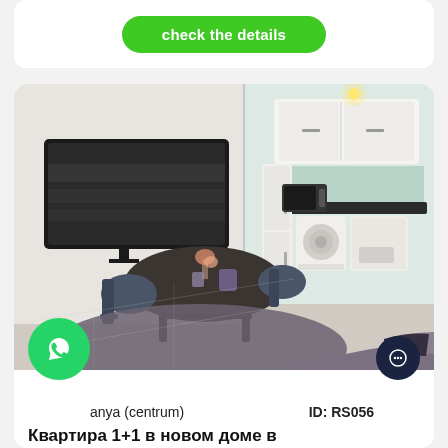check the details
[Figure (photo): Interior photo of a furnished apartment showing a living/dining area with a dark table, chairs, wall-mounted TV, and a kitchen with white cabinets and appliances in the background. A dark sofa is visible in the foreground.]
anya (centrum)
ID: RS056
Квартира 1+1 в новом доме в